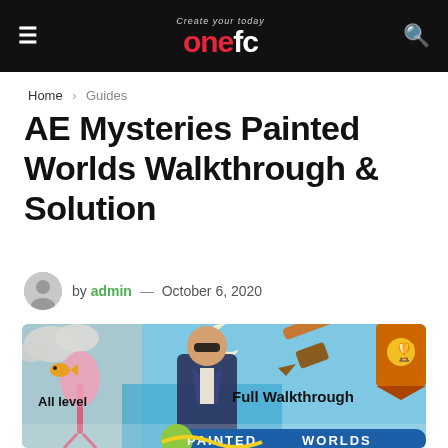≡  onefc  🔍
Home › Guides
AE Mysteries Painted Worlds Walkthrough & Solution
by admin — October 6, 2020
[Figure (illustration): AE Mysteries Painted Worlds game promotional artwork showing a man in a suit with sunglasses, a paintbrush, and illustrated painted world backgrounds with text 'All level Full Walkthrough PAINTED WORLDS']